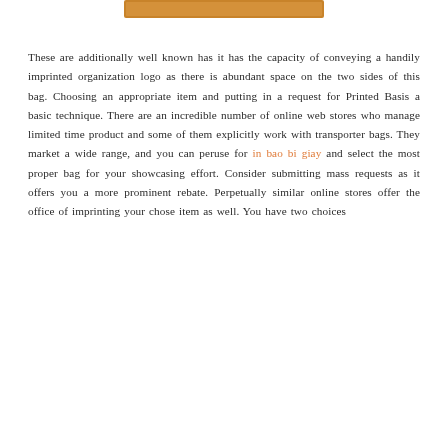[Figure (other): Partial image at top of page — appears to be a cropped product/bag image with orange/brown tones]
These are additionally well known has it has the capacity of conveying a handily imprinted organization logo as there is abundant space on the two sides of this bag. Choosing an appropriate item and putting in a request for Printed Basis a basic technique. There are an incredible number of online web stores who manage limited time product and some of them explicitly work with transporter bags. They market a wide range, and you can peruse for in bao bi giay and select the most proper bag for your showcasing effort. Consider submitting mass requests as it offers you a more prominent rebate. Perpetually similar online stores offer the office of imprinting your chose item as well. You have two choices